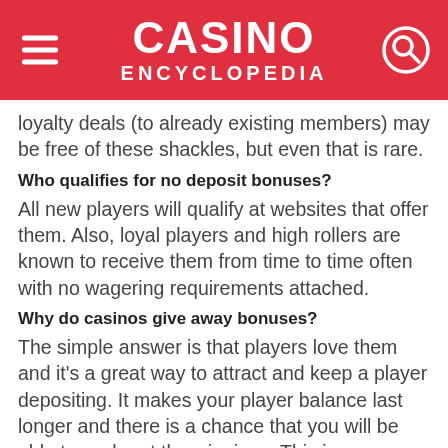CASINO ENCYCLOPEDIA
loyalty deals (to already existing members) may be free of these shackles, but even that is rare.
Who qualifies for no deposit bonuses?
All new players will qualify at websites that offer them. Also, loyal players and high rollers are known to receive them from time to time often with no wagering requirements attached.
Why do casinos give away bonuses?
The simple answer is that players love them and it’s a great way to attract and keep a player depositing. It makes your player balance last longer and there is a chance that you will be able to cash out the winnings. This is very appealing to players. There is also so much competition, therefore, have become a marketing strategy that